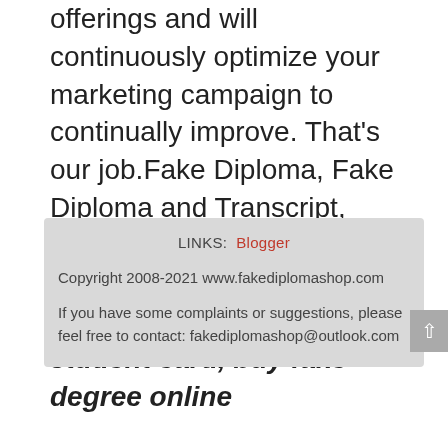offerings and will continuously optimize your marketing campaign to continually improve. That's our job.Fake Diploma, Fake Diploma and Transcript, Fake Degree, Buy Fake Diploma, Buy Fake Degree fake bound university student card, buy fake degree online
LINKS: Blogger
Copyright 2008-2021 www.fakediplomashop.com
If you have some complaints or suggestions, please feel free to contact: fakediplomashop@outlook.com